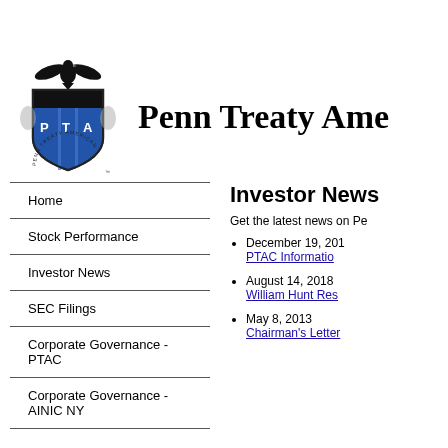[Figure (logo): Penn Treaty American shield/crest logo with eagle on top, blue shield with P T A letters, circular text reading PENN TREATY AMERICAN]
Penn Treaty Ame
Home
Stock Performance
Investor News
SEC Filings
Corporate Governance - PTAC
Corporate Governance - AINIC NY
Investor News
Get the latest news on Pe
December 19, 201 PTAC Informatio
August 14, 2018 William Hunt Res
May 8, 2013 Chairman's Letter